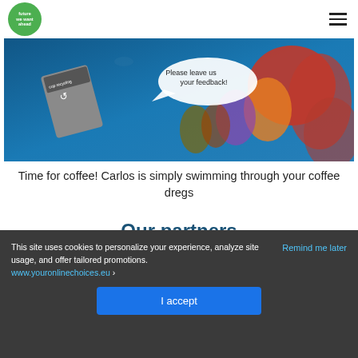future we want ahead logo | hamburger menu
[Figure (photo): Coral reef underwater scene with a gray ink cartridge recycling box in the foreground, and a speech bubble saying 'Please leave us your feedback!']
Time for coffee! Carlos is simply swimming through your coffee dregs
Our partners
This site uses cookies to personalize your experience, analyze site usage, and offer tailored promotions. www.youronlinechoices.eu
Remind me later
I accept